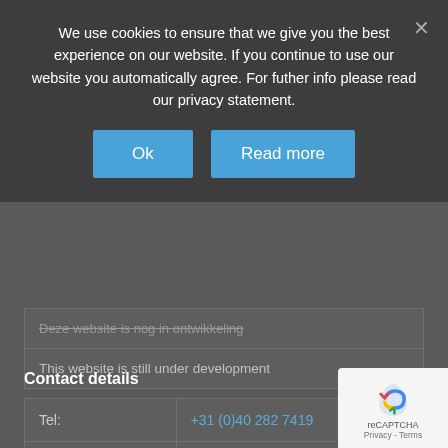We use cookies to ensure that we give you the best experience on our website. If you continue to use our website you automatically agree. For futher info please read our privacy statement.
[Figure (screenshot): Cookie consent dialog with Ok and Read more buttons on dark overlay background]
This website is still under development
Contact details
| Tel: | +31 (0)40 282 7419 |
| Mob: | +31 (0)65 119 4835 |
| E-mail: | info@vlmaritime.com |